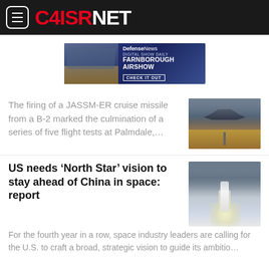C4ISRNET
[Figure (screenshot): DefenseNews advertisement banner for Digital Show Daily Farnborough Airshow with Check It Out button]
The firing of a JASSM-ER cruise missile from a B-2 marked the culmination of a series of five flight tests at Palmdale,...
[Figure (photo): B-2 stealth bomber on a runway, front view]
US needs ‘North Star’ vision to stay ahead of China in space: report
For the fourth year in a row, space industry leaders are calling for the U.S. to craft a broad, strategic vision to guide its ambitio…